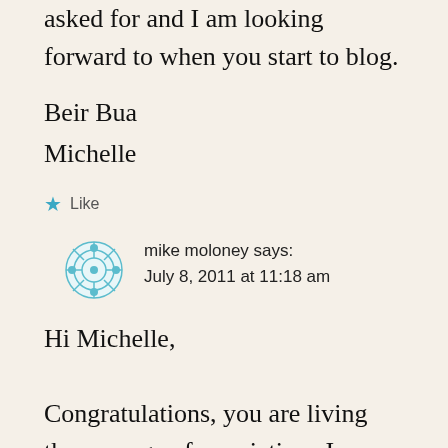asked for and I am looking forward to when you start to blog.
Beir Bua
Michelle
★ Like
mike moloney says:
July 8, 2011 at 11:18 am
Hi Michelle,

Congratulations, you are living the courage of convictions I never knew you had ! Most